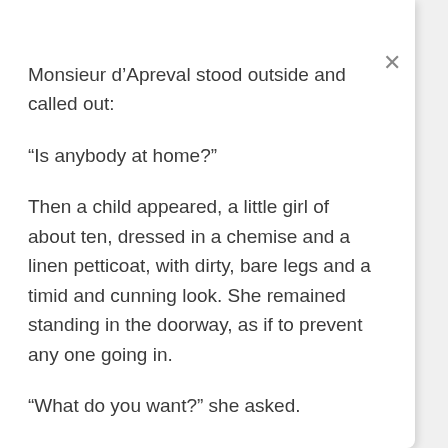Monsieur d’Apreval stood outside and called out:
“Is anybody at home?”
Then a child appeared, a little girl of about ten, dressed in a chemise and a linen petticoat, with dirty, bare legs and a timid and cunning look. She remained standing in the doorway, as if to prevent any one going in.
“What do you want?” she asked.
“Is your father in?”